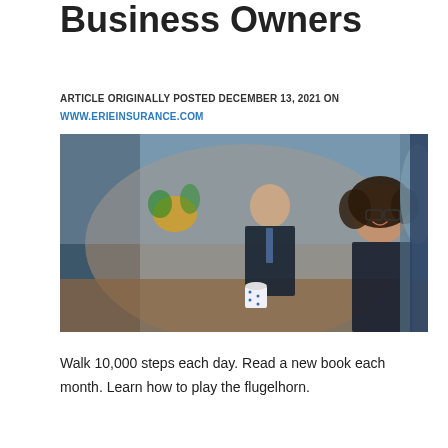Business Owners
ARTICLE ORIGINALLY POSTED DECEMBER 13, 2021 ON WWW.ERIEINSURANCE.COM
[Figure (photo): A smiling woman with curly hair and glasses sitting at a meeting table holding a coffee mug, with a man in a suit and tie visible in the background, and flowers on the table.]
Walk 10,000 steps each day. Read a new book each month. Learn how to play the flugelhorn.